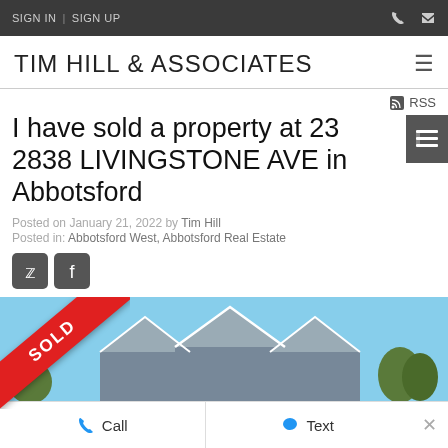SIGN IN | SIGN UP
TIM HILL & ASSOCIATES
RSS
I have sold a property at 23 2838 LIVINGSTONE AVE in Abbotsford
Posted on January 21, 2022 by Tim Hill
Posted in: Abbotsford West, Abbotsford Real Estate
[Figure (photo): Exterior photo of townhouse rooflines against a blue sky, with a red SOLD diagonal banner in the top-left corner]
Call   Text